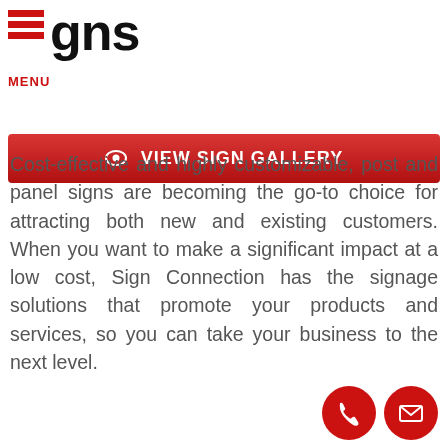gns  MENU
VIEW SIGN GALLERY
Cost-effective and highly customizable, post and panel signs are becoming the go-to choice for attracting both new and existing customers. When you want to make a significant impact at a low cost, Sign Connection has the signage solutions that promote your products and services, so you can take your business to the next level.